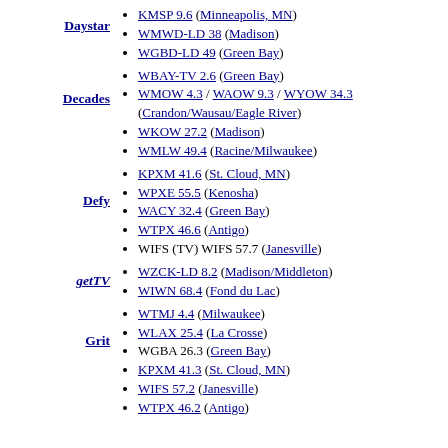KMSP 9.6 (Minneapolis, MN)
WMWD-LD 38 (Madison)
WGBD-LD 49 (Green Bay)
Daystar
WBAY-TV 2.6 (Green Bay)
WMOW 4.3 / WAOW 9.3 / WYOW 34.3 (Crandon/Wausau/Eagle River)
WKOW 27.2 (Madison)
WMLW 49.4 (Racine/Milwaukee)
Decades
KPXM 41.6 (St. Cloud, MN)
WPXE 55.5 (Kenosha)
WACY 32.4 (Green Bay)
WTPX 46.6 (Antigo)
WIFS (TV) WIFS 57.7 (Janesville)
Defy
WZCK-LD 8.2 (Madison/Middleton)
WIWN 68.4 (Fond du Lac)
getTV
WTMJ 4.4 (Milwaukee)
WLAX 25.4 (La Crosse)
WGBA 26.3 (Green Bay)
KPXM 41.3 (St. Cloud, MN)
WIFS 57.2 (Janesville)
WTPX 46.2 (Antigo)
Grit